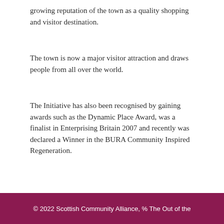growing reputation of the town as a quality shopping and visitor destination.
The town is now a major visitor attraction and draws people from all over the world.
The Initiative has also been recognised by gaining awards such as the Dynamic Place Award, was a finalist in Enterprising Britain 2007 and recently was declared a Winner in the BURA Community Inspired Regeneration.
◄ Back to index
© 2022 Scottish Community Alliance, % The Out of the